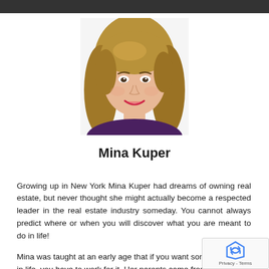[Figure (photo): Professional headshot of Mina Kuper, a woman with shoulder-length blonde-brown hair, smiling, wearing a dark top, against a white background.]
Mina Kuper
Growing up in New York Mina Kuper had dreams of owning real estate, but never thought she might actually become a respected leader in the real estate industry someday. You cannot always predict where or when you will discover what you are meant to do in life!
Mina was taught at an early age that if you want some in life, you have to work for it. Her parents came from